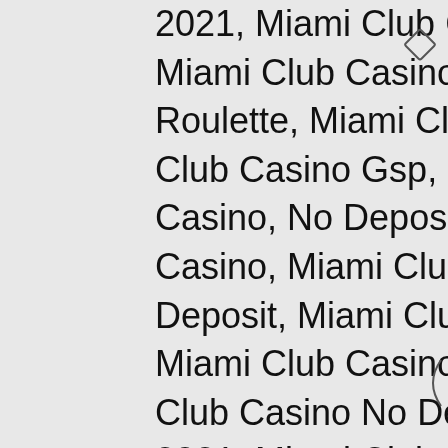2021, Miami Club Casino Phone Number, Miami Club Casino Im, Miami Club Casino Roulette, Miami Club Casino Promo, Miami Club Casino Gsp, Free Spins Miami Club Casino, No Deposit Bonus Code Miami Club Casino, Miami Club Casino Free Spins No Deposit, Miami Club Casino 50 Free Spins, Miami Club Casino Bonus No Deposit, Miami Club Casino No Deposit Bonus Codes March 2021, Miami Club Casino Match Bonus Codes, Miami Club Casino Terms And Conditions, Miami Club Casino Support, Miami Club Casino Free, Miami Club Casino 20 No Deposit Bonus, Miami Club Casino Payout, Miami Club Casino Home, Miami Club Casino Bonus Codes January 2021, Miami Club Casino Software, Miami Club Casino Free Chip No Deposit, Miami Club Casino Bonuscode Ohne Einzahlung, Miami Club Casino Erfahrungen, Miami Club Casino Usa, Free Coupons For Miami Club Casino, Miami Club Casino Coupon Codes